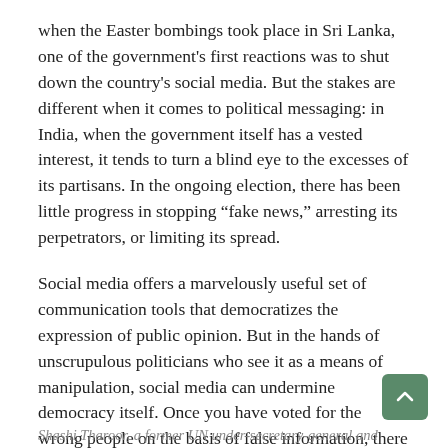when the Easter bombings took place in Sri Lanka, one of the government's first reactions was to shut down the country's social media. But the stakes are different when it comes to political messaging: in India, when the government itself has a vested interest, it tends to turn a blind eye to the excesses of its partisans. In the ongoing election, there has been little progress in stopping “fake news,” arresting its perpetrators, or limiting its spread.
Social media offers a marvelously useful set of communication tools that democratizes the expression of public opinion. But in the hands of unscrupulous politicians who see it as a means of manipulation, social media can undermine democracy itself. Once you have voted for the wrong people on the basis of false information, there is nothing you can do about it until the next election. In that fact lies the danger posed by social media to Indian – and not only Indian – democracy.
By Shashi Tharoor
Shashi Tharoor, a former UN under-secretary-general and